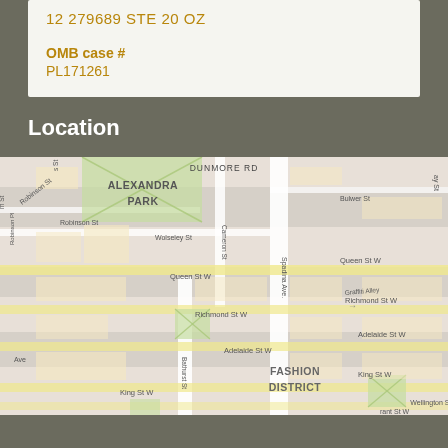12 279689 STE 20 OZ
OMB case #
PL171261
Location
[Figure (map): Street map showing Alexandra Park and Fashion District in Toronto, with streets including Queen St W, Richmond St W, Adelaide St W, King St W, Spadina Ave, Bathurst St, Cameron St, and Graffiti Alley visible.]